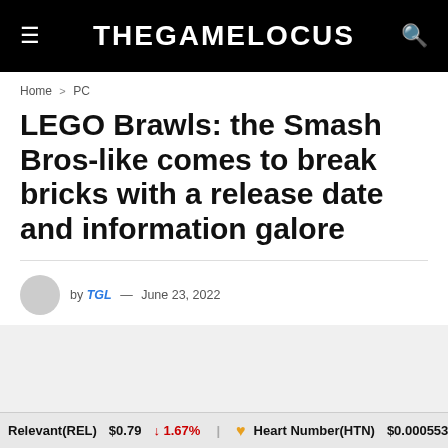THEGAMELOCUS
Home > PC
LEGO Brawls: the Smash Bros-like comes to break bricks with a release date and information galore
by TGL — June 23, 2022
Relevant(REL) $0.79 ! 1.67% Heart Number(HTN) $0.000553